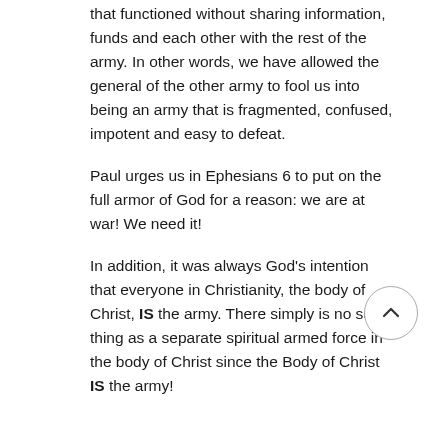that functioned without sharing information, funds and each other with the rest of the army. In other words, we have allowed the general of the other army to fool us into being an army that is fragmented, confused, impotent and easy to defeat.
Paul urges us in Ephesians 6 to put on the full armor of God for a reason: we are at war! We need it!
In addition, it was always God's intention that everyone in Christianity, the body of Christ, IS the army. There simply is no such thing as a separate spiritual armed force in the body of Christ since the Body of Christ IS the army!